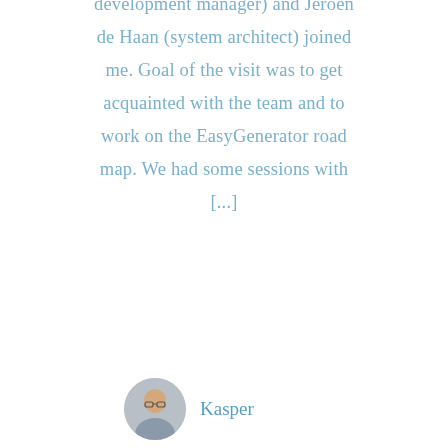development manager) and Jeroen de Haan (system architect) joined me. Goal of the visit was to get acquainted with the team and to work on the EasyGenerator road map. We had some sessions with [...]
Kasper